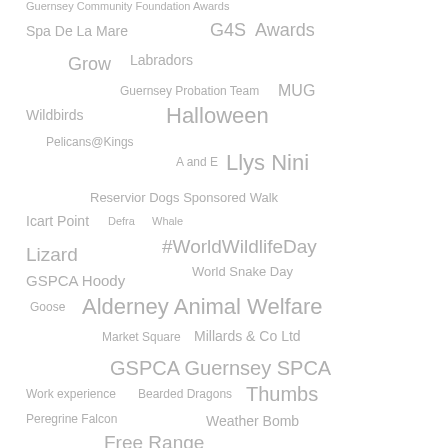[Figure (infographic): Tag cloud with various words related to GSPCA, animal welfare, and Guernsey community topics. Words appear in different sizes and shades of grey, arranged in a scattered cloud layout. Terms include: Guernsey Community Foundation Awards, Spa De La Mare, G4S Awards, Grow, Labradors, Guernsey Probation Team, MUG, Wildbirds, Halloween, Pelicans@Kings, A and E, Llys Nini, Reservior Dogs Sponsored Walk, Icart Point, Defra, Whale, Lizard, #WorldWildlifeDay, GSPCA Hoody, World Snake Day, Goose, Alderney Animal Welfare, Market Square, Millards & Co Ltd, GSPCA Guernsey SPCA, Work experience, Bearded Dragons, Thumbs, Peregrine Falcon, Weather Bomb, Free Range.]